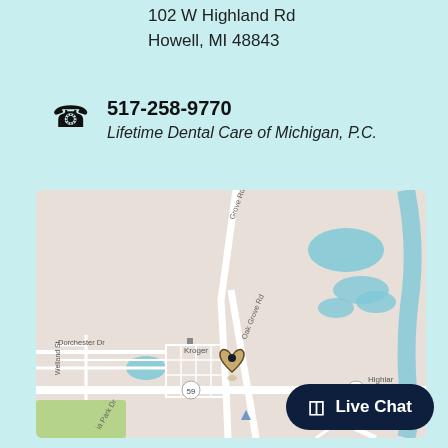102 W Highland Rd
Howell, MI 48843
517-258-9770
Lifetime Dental Care of Michigan, P.C.
[Figure (map): Google Maps view showing the location of Lifetime Dental Care of Michigan P.C. at 102 W Highland Rd, Howell, MI 48843. Map shows Oak Grove Rd, Grove Rd, Dorchester Dr, Welland St, US-59 highway, and a Kroger store nearby. A heart-shaped location pin marks the dental office.]
Live Chat